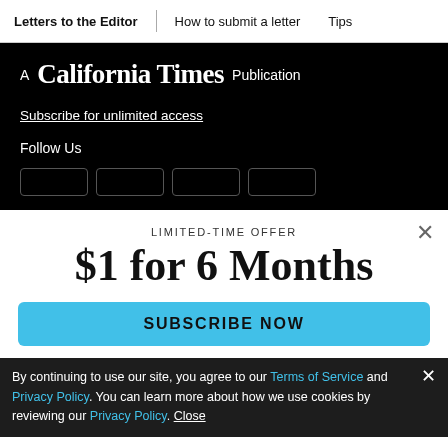Letters to the Editor | How to submit a letter | Tips
A California Times Publication
Subscribe for unlimited access
Follow Us
LIMITED-TIME OFFER
$1 for 6 Months
SUBSCRIBE NOW
By continuing to use our site, you agree to our Terms of Service and Privacy Policy. You can learn more about how we use cookies by reviewing our Privacy Policy. Close